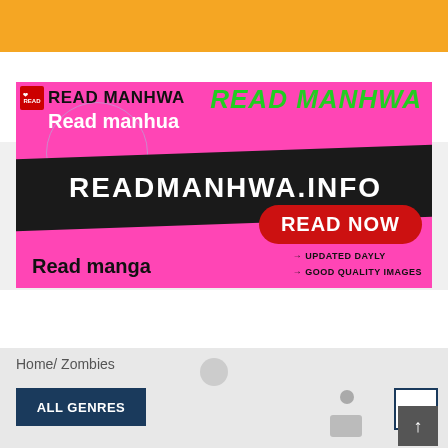[Figure (illustration): Orange top navigation banner of a manga reading website]
[Figure (illustration): Pink advertisement banner for readmanhwa.info website showing 'READ MANHWA', 'Read manhua', 'READMANHWA.INFO', 'READ NOW', 'Read manga', 'UPDATED DAYLY', 'GOOD QUALITY IMAGES' text on a bright pink background with a black ribbon banner and red Read Now button]
Home/ Zombies
ALL GENRES